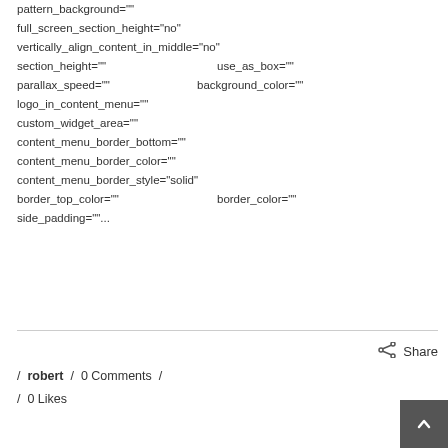pattern_background=""
full_screen_section_height="no"
vertically_align_content_in_middle="no"
section_height=""                    use_as_box=""
parallax_speed=""           background_color=""
logo_in_content_menu=""
custom_widget_area=""
content_menu_border_bottom=""
content_menu_border_color=""
content_menu_border_style="solid"
border_top_color=""                  border_color=""
side_padding=""...
/ robert  / 0 Comments  /  / 0 Likes
[Figure (other): Share icon with text Share]